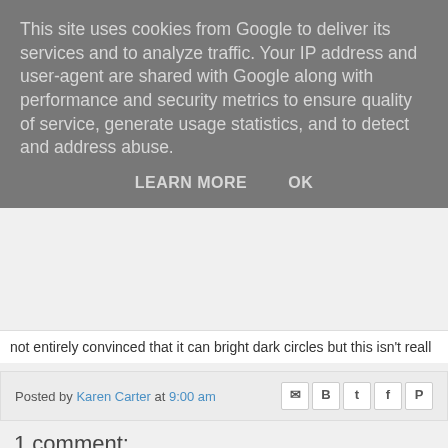This site uses cookies from Google to deliver its services and to analyze traffic. Your IP address and user-agent are shared with Google along with performance and security metrics to ensure quality of service, generate usage statistics, and to detect and address abuse.
LEARN MORE   OK
not entirely convinced that it can bright dark circles but this isn't reall
Posted by Karen Carter at 9:00 am
1 comment:
Dawn  24 November 2013 at 08:20
Hi I have tagged you in the I'm a Beauty Blogger, Get Me Out of H http://sassylittlenails37.blogspot.co.uk/2013/11/tag-im-beauty-blog here.html
Reply
To leave a comment, click the button below to sign in wi